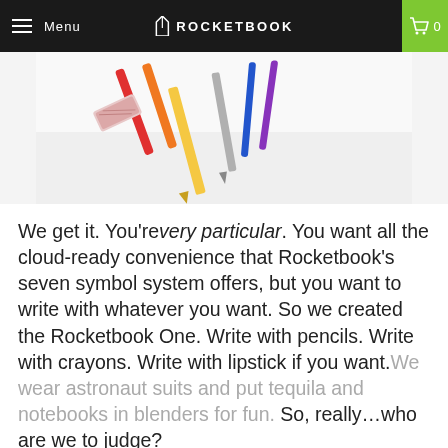Menu | ROCKETBOOK | 0
[Figure (photo): Photo of writing implements including pencils, markers, and pens scattered on a white surface]
We get it. You're very particular. You want all the cloud-ready convenience that Rocketbook's seven symbol system offers, but you want to write with whatever you want. So we created the Rocketbook One. Write with pencils. Write with crayons. Write with lipstick if you want. We wear astronaut suits and put tequila and notebooks in blenders for fun. So, really…who are we to judge?
If you already have a favorite writing implement in mind, have at it. You already